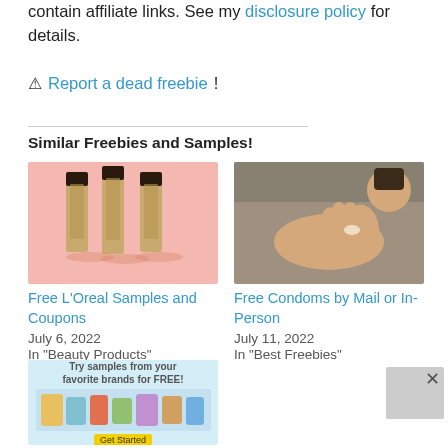contain affiliate links. See my disclosure policy for details.
⚠ Report a dead freebie!
Similar Freebies and Samples!
[Figure (photo): Three makeup/lip gloss products standing upright against a pink background]
Free L’Oreal Samples and Coupons
July 6, 2022
In "Beauty Products"
[Figure (photo): Person lying on a bed, hand raised, lotion or cream visible on hand]
Free Condoms by Mail or In-Person
July 11, 2022
In "Best Freebies"
[Figure (photo): Advertisement banner: Try samples from your favorite brands for FREE! Shows various product samples.]